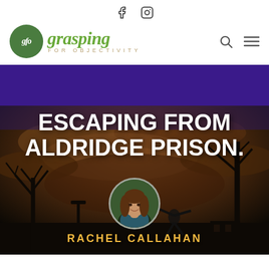Social media icons: Facebook, Instagram
[Figure (logo): Grasping for Objectivity (gfo) logo — green circle with 'gfo' text in white italic, next to green cursive 'grasping' text and 'FOR OBJECTIVITY' in spaced caps below]
[Figure (photo): Hero image: dark moody sky with bare trees and silhouettes; large white bold text reads 'ESCAPING FROM ALDRIDGE PRISON.' overlaid on the image; circular author photo of a young woman with long brown hair; gold text 'RACHEL CALLAHAN' at the bottom]